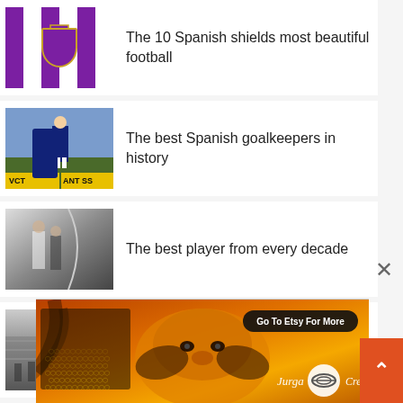[Figure (photo): Valladolid football club flag with purple and white vertical stripes and shield emblem]
The 10 Spanish shields most beautiful football
[Figure (photo): Black and white photo of a Spanish goalkeeper kicking the ball, with VCT and ANT SS banners in background]
The best Spanish goalkeepers in history
[Figure (photo): Black and white photo of football players from a past decade]
The best player from every decade
[Figure (photo): Black and white photo of Levante stadium with crowd]
Why Levante fans call 'Chotos' to Valencia?
[Figure (photo): Advertisement banner for Jurga Creations on Etsy, featuring colorful art with a face and honeycomb pattern, with 'Go To Etsy For More' button]